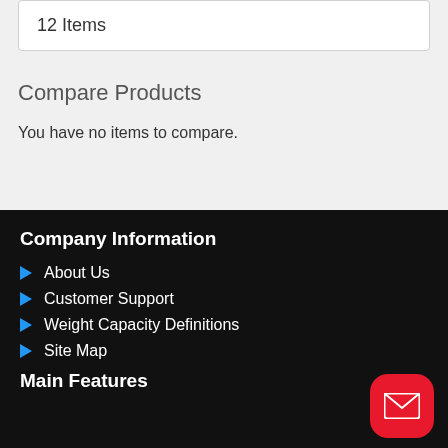12 Items
Compare Products
You have no items to compare.
Company Information
About Us
Customer Support
Weight Capacity Definitions
Site Map
Main Features
[Figure (illustration): Red rounded square button with white envelope/mail icon]